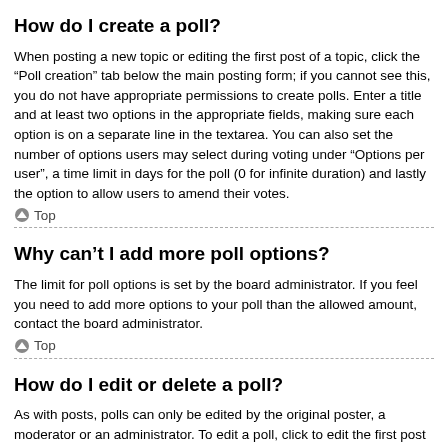How do I create a poll?
When posting a new topic or editing the first post of a topic, click the “Poll creation” tab below the main posting form; if you cannot see this, you do not have appropriate permissions to create polls. Enter a title and at least two options in the appropriate fields, making sure each option is on a separate line in the textarea. You can also set the number of options users may select during voting under “Options per user”, a time limit in days for the poll (0 for infinite duration) and lastly the option to allow users to amend their votes.
Top
Why can’t I add more poll options?
The limit for poll options is set by the board administrator. If you feel you need to add more options to your poll than the allowed amount, contact the board administrator.
Top
How do I edit or delete a poll?
As with posts, polls can only be edited by the original poster, a moderator or an administrator. To edit a poll, click to edit the first post in the topic; this always has the poll associated with it. If no one has cast a vote, users can delete the poll or edit any poll option. However, if members have already